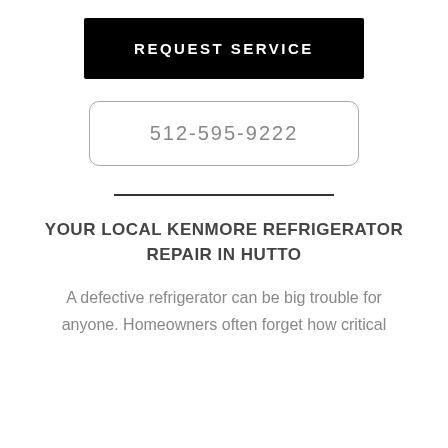REQUEST SERVICE
512-595-9222
YOUR LOCAL KENMORE REFRIGERATOR REPAIR IN HUTTO
A defective refrigerator can be big trouble for anyone. Homeowners often forget how critical